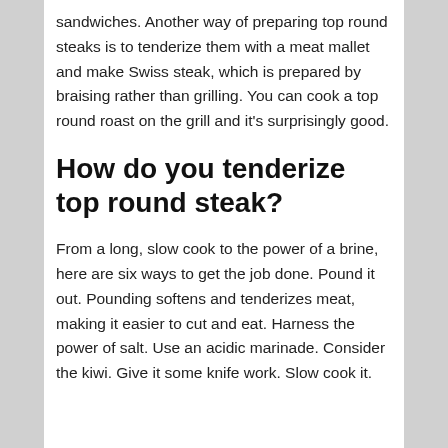sandwiches. Another way of preparing top round steaks is to tenderize them with a meat mallet and make Swiss steak, which is prepared by braising rather than grilling. You can cook a top round roast on the grill and it's surprisingly good.
How do you tenderize top round steak?
From a long, slow cook to the power of a brine, here are six ways to get the job done. Pound it out. Pounding softens and tenderizes meat, making it easier to cut and eat. Harness the power of salt. Use an acidic marinade. Consider the kiwi. Give it some knife work. Slow cook it.